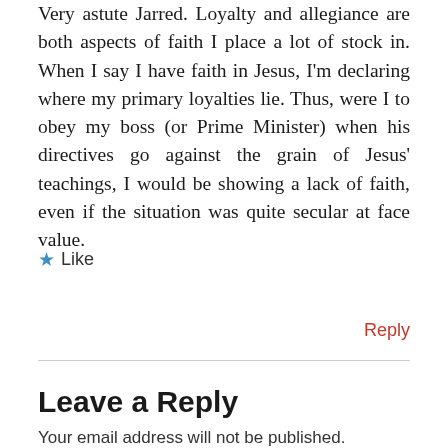Very astute Jarred. Loyalty and allegiance are both aspects of faith I place a lot of stock in. When I say I have faith in Jesus, I'm declaring where my primary loyalties lie. Thus, were I to obey my boss (or Prime Minister) when his directives go against the grain of Jesus' teachings, I would be showing a lack of faith, even if the situation was quite secular at face value.
★ Like
Reply
Leave a Reply
Your email address will not be published. Required